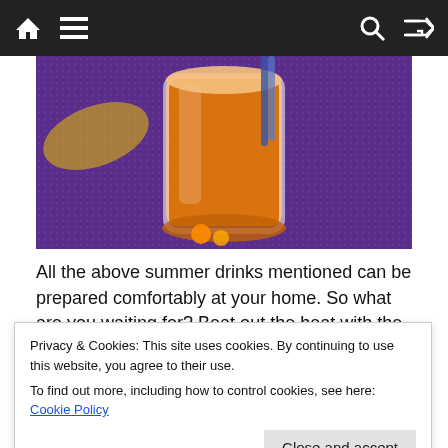Navigation bar with home, menu, search, and shuffle icons
[Figure (photo): A glass of orange juice/smoothie on a purple textured surface, with fruit visible]
All the above summer drinks mentioned can be prepared comfortably at your home. So what are you waiting for? Beat out the heat with the chilling
Privacy & Cookies: This site uses cookies. By continuing to use this website, you agree to their use.
To find out more, including how to control cookies, see here: Cookie Policy
[Figure (photo): Partial photo at the bottom showing a person outdoors with mountains]